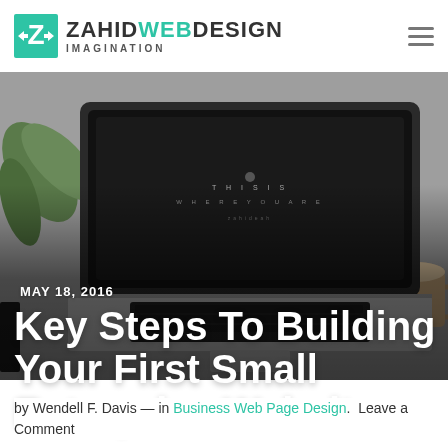ZAHIDWEBDESIGN IMAGINATION
[Figure (photo): Overhead view of a MacBook laptop on a grey desk with a plant and coffee cup, screen showing 'THIS IS WHERE YOU ARE' text]
MAY 18, 2016
Key Steps To Building Your First Small Enterprise Website
by Wendell F. Davis — in Business Web Page Design.  Leave a Comment